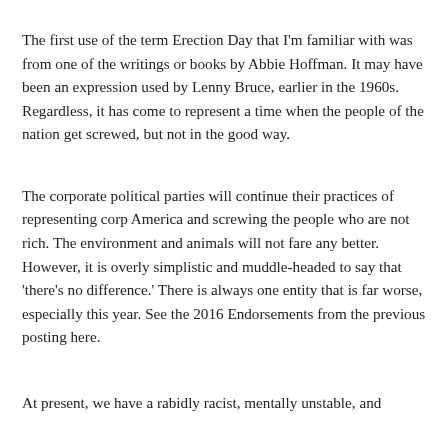The first use of the term Erection Day that I'm familiar with was from one of the writings or books by Abbie Hoffman. It may have been an expression used by Lenny Bruce, earlier in the 1960s. Regardless, it has come to represent a time when the people of the nation get screwed, but not in the good way.
The corporate political parties will continue their practices of representing corp America and screwing the people who are not rich. The environment and animals will not fare any better. However, it is overly simplistic and muddle-headed to say that 'there's no difference.' There is always one entity that is far worse, especially this year. See the 2016 Endorsements from the previous posting here.
At present, we have a rabidly racist, mentally unstable, and